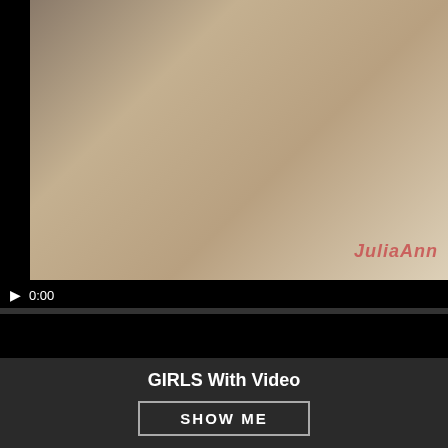[Figure (screenshot): Video player showing paused adult video content with black bars, play button, and 0:00 timestamp. Watermark reads JuliaAnn.]
[Figure (screenshot): Two gray buttons below video player: 'More on XVideos.com' and 'View Hi...' in orange-red bold text.]
[Figure (screenshot): Advertisement banner with woman photo on left and blue background with 'FREE LIVE' text in cyan on right.]
GIRLS With Video
SHOW ME